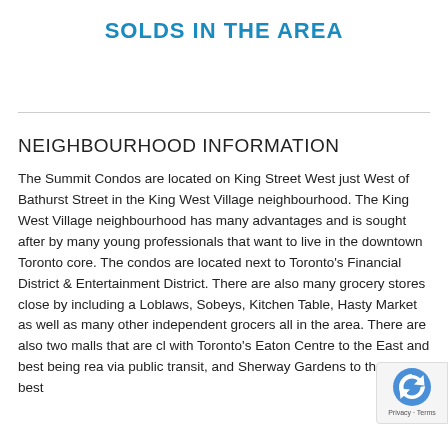SOLDS IN THE AREA
NEIGHBOURHOOD INFORMATION
The Summit Condos are located on King Street West just West of Bathurst Street in the King West Village neighbourhood. The King West Village neighbourhood has many advantages and is sought after by many young professionals that want to live in the downtown Toronto core. The condos are located next to Toronto's Financial District & Entertainment District. There are also many grocery stores close by including a Loblaws, Sobeys, Kitchen Table, Hasty Market as well as many other independent grocers all in the area. There are also two malls that are close with Toronto's Eaton Centre to the East and best being reachable via public transit, and Sherway Gardens to the West best
[Figure (logo): reCAPTCHA badge with Privacy - Terms label]